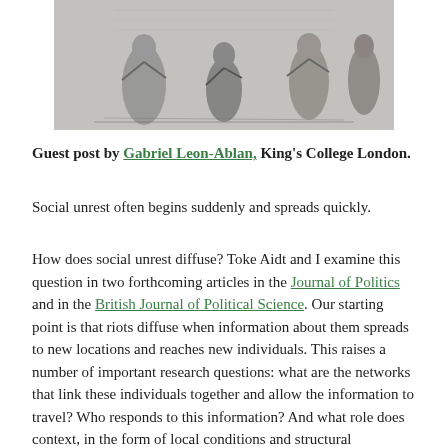[Figure (illustration): Black and white engraving illustration showing a group of people in historical clothing, appearing to be in a scene of social unrest or gathering.]
Guest post by Gabriel Leon-Ablan, King's College London.
Social unrest often begins suddenly and spreads quickly.
How does social unrest diffuse? Toke Aidt and I examine this question in two forthcoming articles in the Journal of Politics and in the British Journal of Political Science. Our starting point is that riots diffuse when information about them spreads to new locations and reaches new individuals. This raises a number of important research questions: what are the networks that link these individuals together and allow the information to travel? Who responds to this information? And what role does context, in the form of local conditions and structural factors, play in explaining diffuse